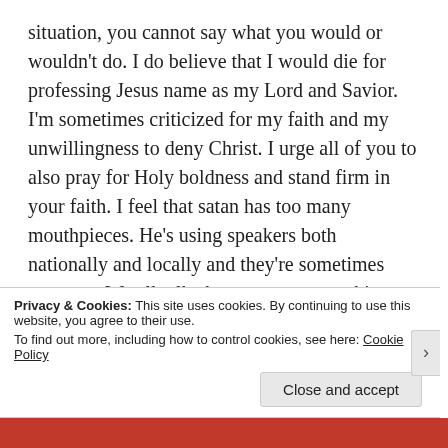situation, you cannot say what you would or wouldn't do. I do believe that I would die for professing Jesus name as my Lord and Savior. I'm sometimes criticized for my faith and my unwillingness to deny Christ. I urge all of you to also pray for Holy boldness and stand firm in your faith. I feel that satan has too many mouthpieces. He's using speakers both nationally and locally and they're sometimes unaware. We all talk about unnecessary things at times and just because it's common doesn't mean it's right. (Philippians 4:8 says Whatsoever things are true, Whatsoever things are honest, whatsoever things are just, whatsoever things are pure, whatsoever things are lovely,
Privacy & Cookies: This site uses cookies. By continuing to use this website, you agree to their use.
To find out more, including how to control cookies, see here: Cookie Policy